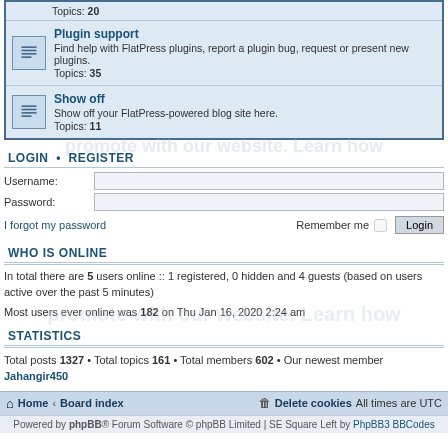Plugin support — Find help with FlatPress plugins, report a plugin bug, request or present new plugins. Topics: 35
Show off — Show off your FlatPress-powered blog site here. Topics: 11
LOGIN • REGISTER
Username:
Password:
I forgot my password
Remember me  Login
WHO IS ONLINE
In total there are 5 users online :: 1 registered, 0 hidden and 4 guests (based on users active over the past 5 minutes)
Most users ever online was 182 on Thu Jan 16, 2020 2:24 am
STATISTICS
Total posts 1327 • Total topics 161 • Total members 602 • Our newest member Jahangir450
Home · Board index    Delete cookies  All times are UTC
Powered by phpBB® Forum Software © phpBB Limited | SE Square Left by PhpBB3 BBCodes